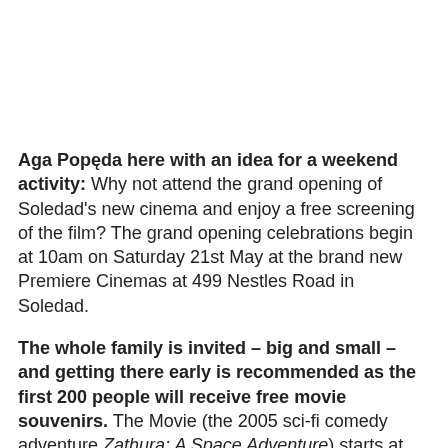Aga Popęda here with an idea for a weekend activity: Why not attend the grand opening of Soledad's new cinema and enjoy a free screening of the film? The grand opening celebrations begin at 10am on Saturday 21st May at the brand new Premiere Cinemas at 499 Nestles Road in Soledad.
The whole family is invited – big and small – and getting there early is recommended as the first 200 people will receive free movie souvenirs. The Movie (the 2005 sci-fi comedy adventure Zathura: A Space Adventure) starts at 10:30 am and the celebration is